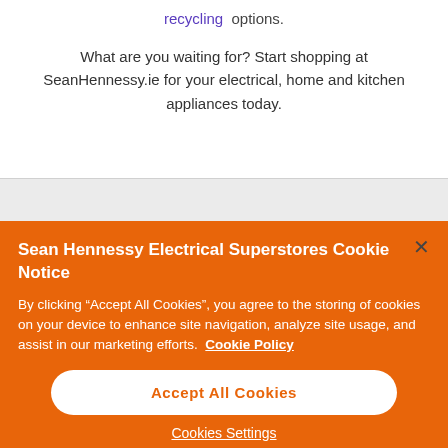recycling options.
What are you waiting for? Start shopping at SeanHennessy.ie for your electrical, home and kitchen appliances today.
Sean Hennessy Electrical Superstores Cookie Notice
By clicking “Accept All Cookies”, you agree to the storing of cookies on your device to enhance site navigation, analyze site usage, and assist in our marketing efforts. Cookie Policy
Accept All Cookies
Cookies Settings